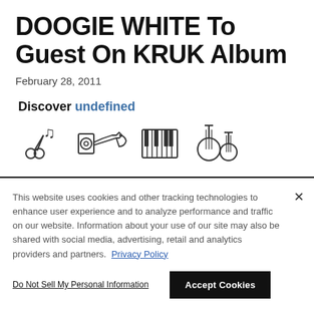DOOGIE WHITE To Guest On KRUK Album
February 28, 2011
Discover undefined
[Figure (illustration): Four music genre icons in a row: scissors with musical notes (music/cuts), speaker with trumpet (audio/brass), piano keys (keyboard), and a banjo/stringed instrument (folk/strings)]
This website uses cookies and other tracking technologies to enhance user experience and to analyze performance and traffic on our website. Information about your use of our site may also be shared with social media, advertising, retail and analytics providers and partners. Privacy Policy
Do Not Sell My Personal Information
Accept Cookies